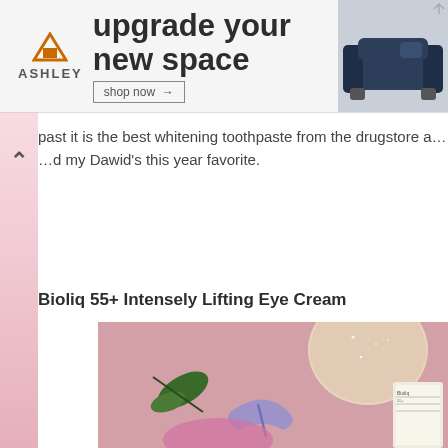[Figure (photo): Ashley Furniture advertisement banner with logo, 'upgrade your new space' headline, shop now button, and sofa image]
past it is the best whitening toothpaste from the drugstore and my Dawid's this year favorite.
Bioliq 55+ Intensely Lifting Eye Cream
[Figure (photo): Close-up photo of beauty/skincare products on a pink knitted background, featuring a heart-shaped glittery item, green leaves, a lavender ribbon, and product packaging]